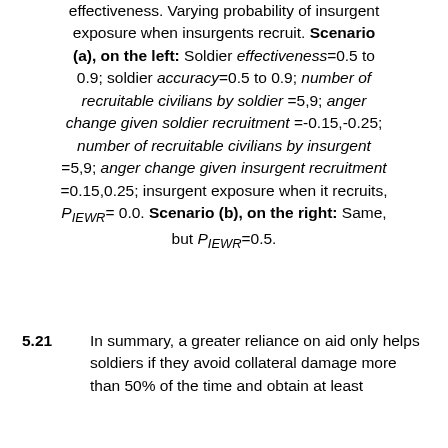effectiveness. Varying probability of insurgent exposure when insurgents recruit. Scenario (a), on the left: Soldier effectiveness=0.5 to 0.9; soldier accuracy=0.5 to 0.9; number of recruitable civilians by soldier =5,9; anger change given soldier recruitment =-0.15,-0.25; number of recruitable civilians by insurgent =5,9; anger change given insurgent recruitment =0.15,0.25; insurgent exposure when it recruits, P_IEWR= 0.0. Scenario (b), on the right: Same, but P_IEWR=0.5.
5.21 In summary, a greater reliance on aid only helps soldiers if they avoid collateral damage more than 50% of the time and obtain at least some intelligence about their opposition.